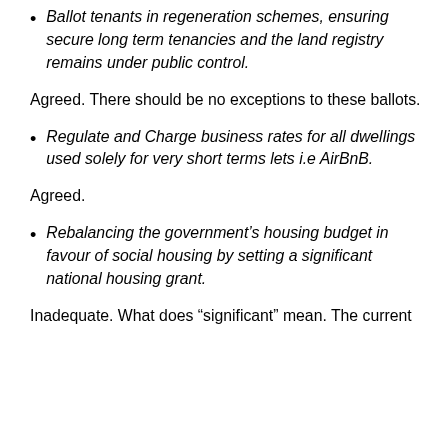Ballot tenants in regeneration schemes, ensuring secure long term tenancies and the land registry remains under public control.
Agreed. There should be no exceptions to these ballots.
Regulate and Charge business rates for all dwellings used solely for very short terms lets i.e AirBnB.
Agreed.
Rebalancing the government's housing budget in favour of social housing by setting a significant national housing grant.
Inadequate. What does “significant” mean. The current